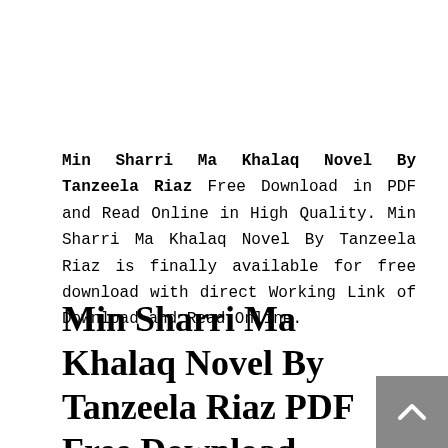Min Sharri Ma Khalaq Novel By Tanzeela Riaz Free Download in PDF and Read Online in High Quality. Min Sharri Ma Khalaq Novel By Tanzeela Riaz is finally available for free download with direct Working Link of Download and Read Online.
Min Sharri Ma Khalaq Novel By Tanzeela Riaz PDF Free Download